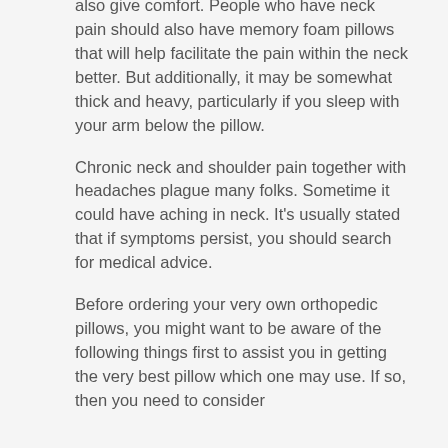also give comfort. People who have neck pain should also have memory foam pillows that will help facilitate the pain within the neck better. But additionally, it may be somewhat thick and heavy, particularly if you sleep with your arm below the pillow.
Chronic neck and shoulder pain together with headaches plague many folks. Sometime it could have aching in neck. It's usually stated that if symptoms persist, you should search for medical advice.
Before ordering your very own orthopedic pillows, you might want to be aware of the following things first to assist you in getting the very best pillow which one may use. If so, then you need to consider